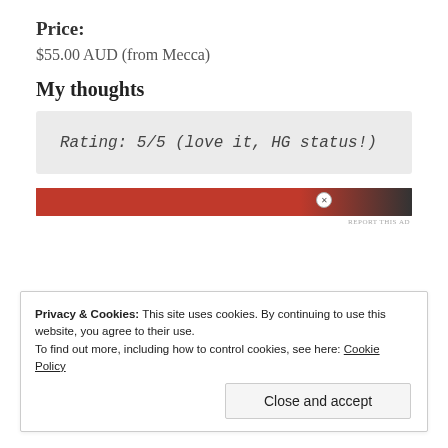Price:
$55.00 AUD (from Mecca)
My thoughts
Rating: 5/5 (love it, HG status!)
[Figure (other): Red advertisement banner with close button]
REPORT THIS AD
Privacy & Cookies: This site uses cookies. By continuing to use this website, you agree to their use.
To find out more, including how to control cookies, see here: Cookie Policy
Close and accept